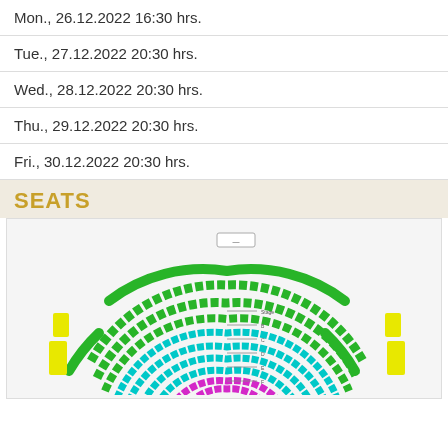Mon., 26.12.2022 16:30 hrs.
Tue., 27.12.2022 20:30 hrs.
Wed., 28.12.2022 20:30 hrs.
Thu., 29.12.2022 20:30 hrs.
Fri., 30.12.2022 20:30 hrs.
SEATS
[Figure (other): Theater seating chart showing a fan-shaped auditorium layout with color-coded seat availability: green (available), yellow, cyan/teal, and magenta/pink sections. Seats are arranged in curved rows around a central stage area.]